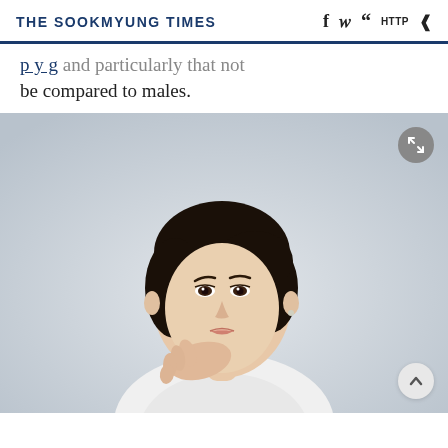THE SOOKMYUNG TIMES
...playing... and particularly that not be compared to males.
[Figure (photo): Portrait photo of a middle-aged Korean woman with short dark hair, resting her chin on her hand, wearing a light blazer, photographed against a light gray background. The image is displayed on The Sookmyung Times website with a fullscreen expand button in the top-right corner and an up/scroll button in the bottom-right corner.]